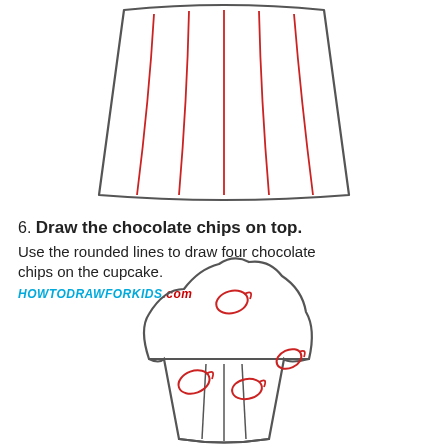[Figure (illustration): Drawing tutorial step showing a cupcake wrapper/base with red vertical stripe lines inside, partially cropped at top of page]
6. Draw the chocolate chips on top. Use the rounded lines to draw four chocolate chips on the cupcake.
HOWTODRAWFORKIDS.com
[Figure (illustration): Drawing tutorial step showing a complete cupcake outline with four red oval chocolate chip shapes drawn on top of the frosting, and vertical lines on the cupcake wrapper]